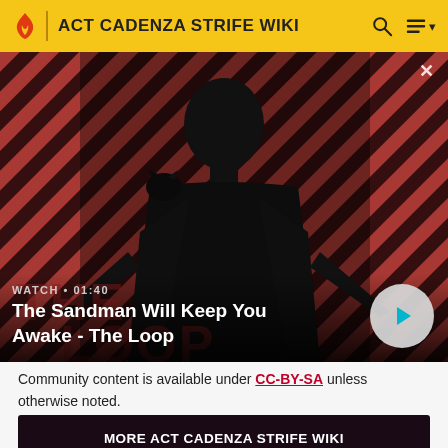ACT CADENZA STRIFE WIKI
[Figure (screenshot): Video thumbnail showing a man in black coat with a raven on his shoulder against a red diagonal striped background. Title: 'The Sandman Will Keep You Awake - The Loop'. Duration: 01:40. Play button visible.]
Community content is available under CC-BY-SA unless otherwise noted.
MORE ACT CADENZA STRIFE WIKI